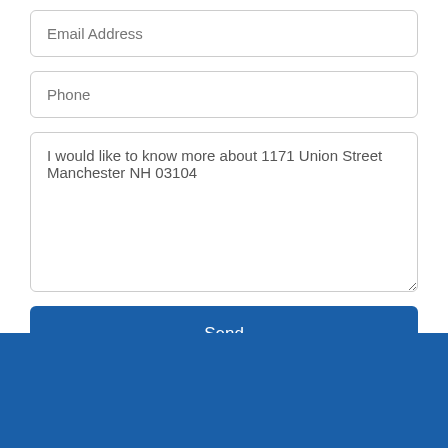[Figure (screenshot): Web form with Email Address input field (placeholder text), Phone input field (placeholder text), a large textarea pre-filled with 'I would like to know more about 1171 Union Street Manchester NH 03104', and a blue Send button]
Email Address
Phone
I would like to know more about 1171 Union Street Manchester NH 03104
Send